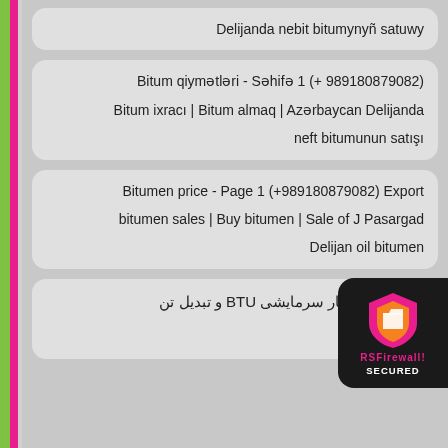Delijanda nebit bitumynyñ satuwy
Bitum qiymətləri - Səhifə 1 (+ 989180879082)
Bitum ixracı | Bitum almaq | Azərbaycan Delijanda neft bitumunun satışı
Bitumen price - Page 1 (+989180879082) Export bitumen sales | Buy bitumen | Sale of J Pasargad Delijan oil bitumen
محاسبه بار سرمایشی BTU و تبدیل تن به بی | ت ؟
[Figure (logo): RSFirewall SECURED badge with shield icon on dark background]